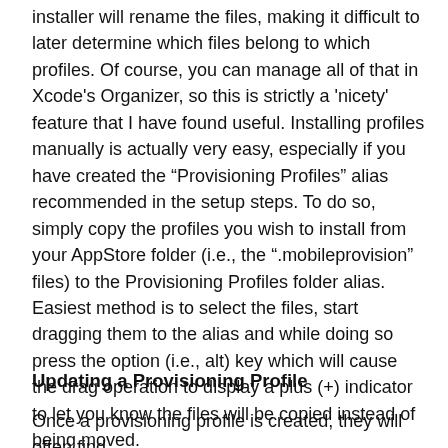installer will rename the files, making it difficult to later determine which files belong to which profiles. Of course, you can manage all of that in Xcode's Organizer, so this is strictly a 'nicety' feature that I have found useful. Installing profiles manually is actually very easy, especially if you have created the “Provisioning Profiles” alias recommended in the setup steps. To do so, simply copy the profiles you wish to install from your AppStore folder (i.e., the “.mobileprovision” files) to the Provisioning Profiles folder alias. Easiest method is to select the files, start dragging them to the alias and while doing so press the option (i.e., alt) key which will cause the drag operation to display a plus (+) indicator to let you know the files will be copied instead of being moved.
Updating a Provisioning Profile
Once a provisioning profile is created, they will often find...